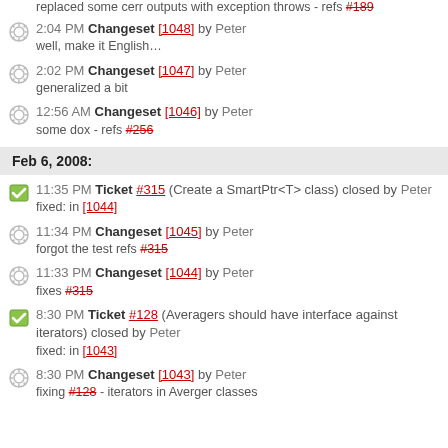replaced some cerr outputs with exception throws - refs #189
2:04 PM Changeset [1048] by Peter — well, make it English…
2:02 PM Changeset [1047] by Peter — generalized a bit
12:56 AM Changeset [1046] by Peter — some dox - refs #256
Feb 6, 2008:
11:35 PM Ticket #315 (Create a SmartPtr<T> class) closed by Peter — fixed: in [1044]
11:34 PM Changeset [1045] by Peter — forgot the test refs #315
11:33 PM Changeset [1044] by Peter — fixes #315
8:30 PM Ticket #128 (Averagers should have interface against iterators) closed by Peter — fixed: in [1043]
8:30 PM Changeset [1043] by Peter — fixing #128 - iterators in Averger classes